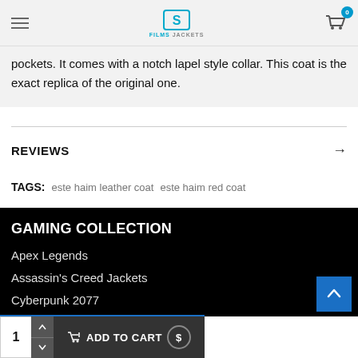Films Jackets
pockets. It comes with a notch lapel style collar. This coat is the exact replica of the original one.
REVIEWS
TAGS: este haim leather coat   este haim red coat
GAMING COLLECTION
Apex Legends
Assassin's Creed Jackets
Cyberpunk 2077
1  ADD TO CART